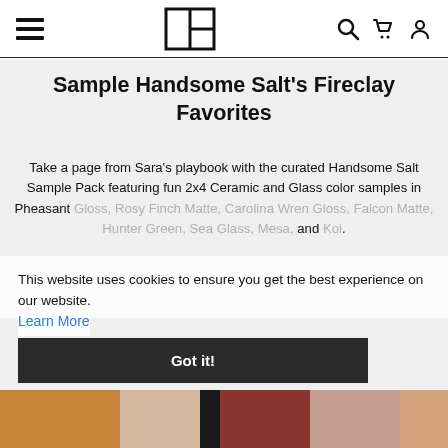Navigation bar with hamburger menu, logo, search, cart, and account icons
Sample Handsome Salt's Fireclay Favorites
Take a page from Sara’s playbook with the curated Handsome Salt Sample Pack featuring fun 2x4 Ceramic and Glass color samples in Pheasant Gloss, Rosy Finch Matte, Carolina Wren Gloss, Falcon Matte, Hunter Green, Sea Glass, Mesa, and Koi.
This website uses cookies to ensure you get the best experience on our website.
Learn More
Got it!
[Figure (photo): Color tile swatches at the bottom of the page showing various fireclay tile colors]